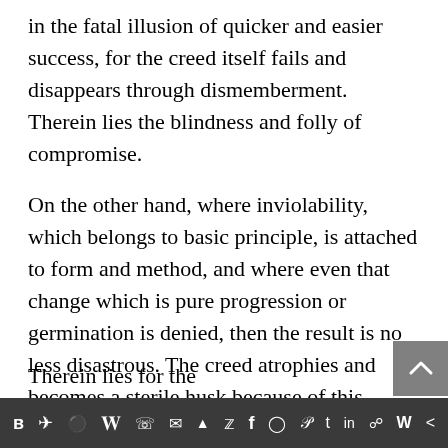in the fatal illusion of quicker and easier success, for the creed itself fails and disappears through dismemberment. Therein lies the blindness and folly of compromise.
On the other hand, where inviolability, which belongs to basic principle, is attached to form and method, and where even that change which is pure progression or germination is denied, then the result is no less disastrous. The creed atrophies and becomes a sterile husk because of this particular confusion of the time-full and the timeless. Therein lies the blindness and folly of rigidity.
Therein lies for the...
Social media share bar with icons: VK, Telegram, Reddit, WordPress, WhatsApp, Email, Buffer, Twitter, Facebook, Instagram, Pinterest, Tumblr, LinkedIn, Gift, Wikiwand, Share